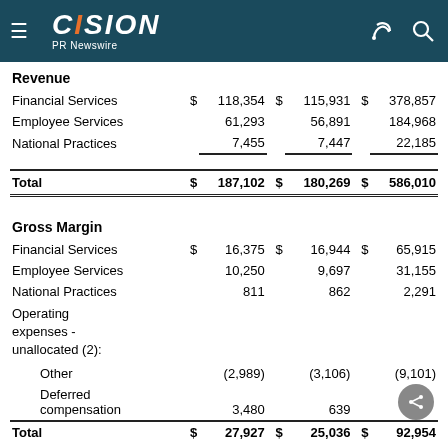CISION PR Newswire
|  | $ |  | $ |  | $ |  |
| --- | --- | --- | --- | --- | --- | --- |
| Revenue |  |  |  |  |  |  |
| Financial Services | $ | 118,354 | $ | 115,931 | $ | 378,857 |
| Employee Services |  | 61,293 |  | 56,891 |  | 184,968 |
| National Practices |  | 7,455 |  | 7,447 |  | 22,185 |
| Total | $ | 187,102 | $ | 180,269 | $ | 586,010 |
| Gross Margin |  |  |  |  |  |  |
| Financial Services | $ | 16,375 | $ | 16,944 | $ | 65,915 |
| Employee Services |  | 10,250 |  | 9,697 |  | 31,155 |
| National Practices |  | 811 |  | 862 |  | 2,291 |
| Operating expenses - unallocated (2): |  |  |  |  |  |  |
| Other |  | (2,989) |  | (3,106) |  | (9,101) |
| Deferred compensation |  | 3,480 |  | 639 |  |  |
| Total | $ | 27,927 | $ | 25,036 | $ | 92,954 |